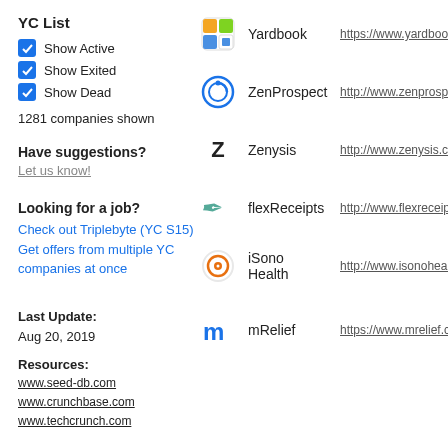YC List
Show Active
Show Exited
Show Dead
1281 companies shown
Have suggestions?
Let us know!
Looking for a job?
Check out Triplebyte (YC S15)
Get offers from multiple YC companies at once
Last Update:
Aug 20, 2019
Resources:
www.seed-db.com
www.crunchbase.com
www.techcrunch.com
Yardbook — https://www.yardbook.c...
ZenProspect — http://www.zenprospect....
Zenysis — http://www.zenysis.com
flexReceipts — http://www.flexreceipts.c...
iSono Health — http://www.isonohealth.c...
mRelief — https://www.mrelief.com